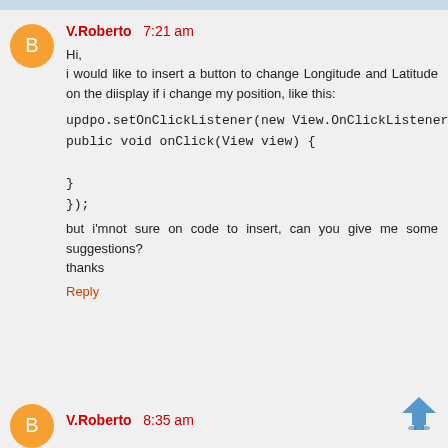V.Roberto  7:21 am
Hi,
i would like to insert a button to change Longitude and Latitude on the diisplay if i change my position, like this:

updpo.setOnClickListener(new View.OnClickListener() {
public void onClick(View view) {

}
});

but i'mnot sure on code to insert, can you give me some suggestions?
thanks
Reply
V.Roberto  8:35 am